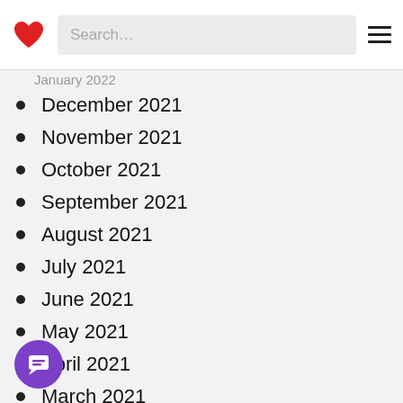Search…
January 2022 (partially visible)
December 2021
November 2021
October 2021
September 2021
August 2021
July 2021
June 2021
May 2021
April 2021
March 2021
February 2021
January 2021
December 2020
November 2020
October 2020 (partially visible)